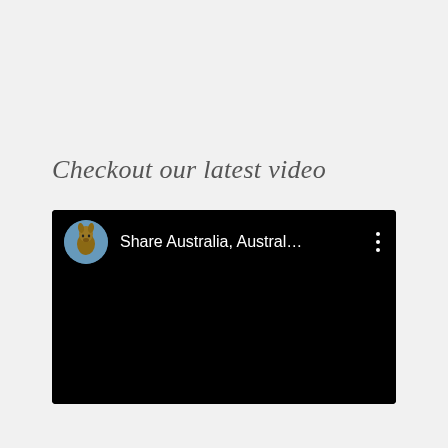Checkout our latest video
[Figure (screenshot): Embedded video player with black background showing a kangaroo avatar and text 'Share Australia, Austral...' with a three-dot menu icon]